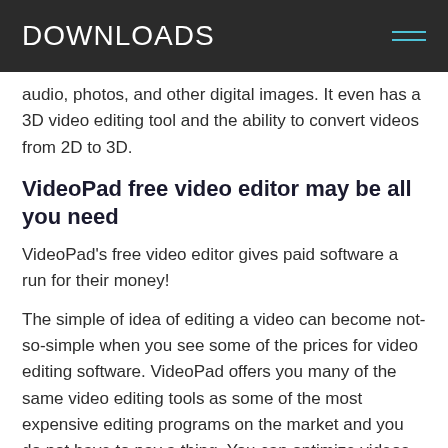DOWNLOADS
audio, photos, and other digital images. It even has a 3D video editing tool and the ability to convert videos from 2D to 3D.
VideoPad free video editor may be all you need
VideoPad’s free video editor gives paid software a run for their money!
The simple of idea of editing a video can become not-so-simple when you see some of the prices for video editing software. VideoPad offers you many of the same video editing tools as some of the most expensive editing programs on the market and you do not have to pay a thing. You can optimize videos, reduce camera